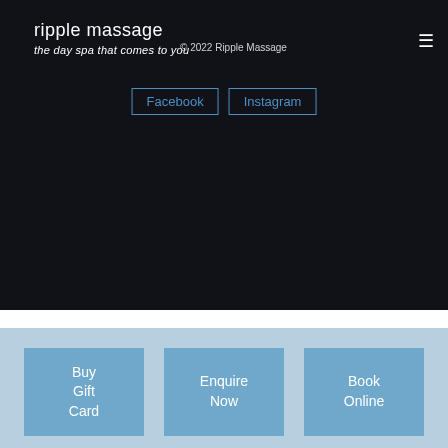ripple massage
the day spa that comes to you
© 2022 Ripple Massage
Facebook  Instagram
Buy Gift Card
Enquire Now
Book Online